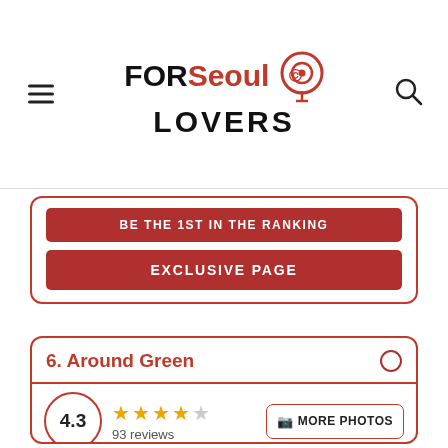FOR Seoul LOVERS
BE THE 1ST IN THE RANKING
EXCLUSIVE PAGE
6. Around Green
4.3 — 93 reviews — MORE PHOTOS
Location ★★★★☆ 4.4
Price/Quality ★★★★★ 4.9
Service ★★★★☆ 4.4